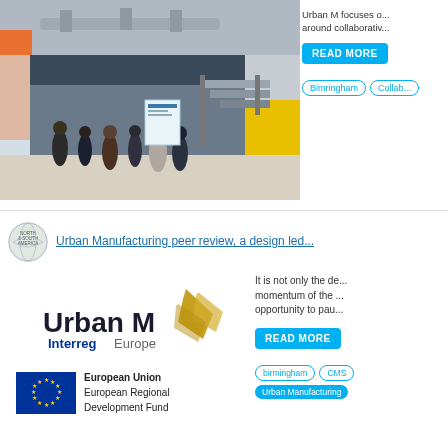[Figure (photo): Interior of a modern industrial or coworking space with exposed ceiling ducts, stairs, people networking, orange accent panel on left wall, yellow accent on right wall, white banner visible in background]
Urban M focuses o... around collaborativ...
READ MORE
Bimringham   Collab...
Urban Manufacturing peer review, a design led...
[Figure (logo): Urban M Interreg Europe logo with gold angular shape]
It is not only the de... momentum of the ... opportunity to pau...
READ MORE
birmingham   CMS
Urban Manufacturing
[Figure (logo): European Union European Regional Development Fund logo with EU flag (blue background with yellow stars)]